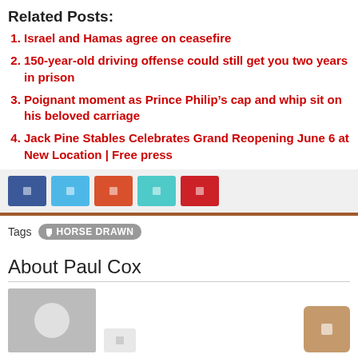Related Posts:
Israel and Hamas agree on ceasefire
150-year-old driving offense could still get you two years in prison
Poignant moment as Prince Philip’s cap and whip sit on his beloved carriage
Jack Pine Stables Celebrates Grand Reopening June 6 at New Location | Free press
[Figure (infographic): Social media share buttons: Facebook (blue), Twitter (light blue), Reddit (orange-red), Telegram (teal), Pinterest (red)]
Tags  • HORSE DRAWN
About Paul Cox
[Figure (photo): Gray placeholder avatar image with white circle, small share button, and tan/brown action button]